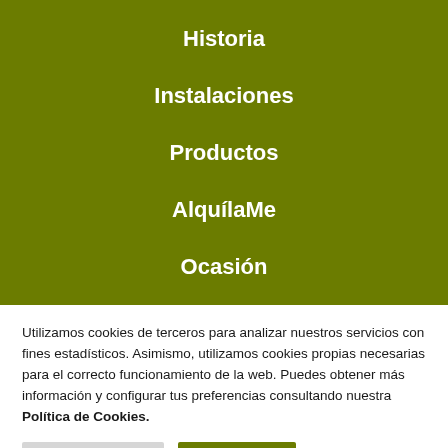Historia
Instalaciones
Productos
AlquílaMe
Ocasión
Utilizamos cookies de terceros para analizar nuestros servicios con fines estadísticos. Asimismo, utilizamos cookies propias necesarias para el correcto funcionamiento de la web. Puedes obtener más información y configurar tus preferencias consultando nuestra Política de Cookies.
Cookie Settings
Accept All